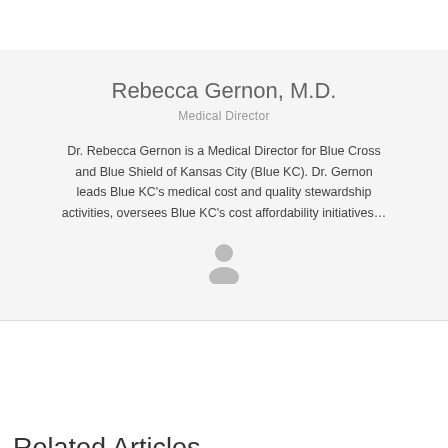Rebecca Gernon, M.D.
Medical Director
Dr. Rebecca Gernon is a Medical Director for Blue Cross and Blue Shield of Kansas City (Blue KC). Dr. Gernon leads Blue KC's medical cost and quality stewardship activities, oversees Blue KC's cost affordability initiatives…
[Figure (illustration): Generic person/user silhouette icon in light gray]
Related Articles